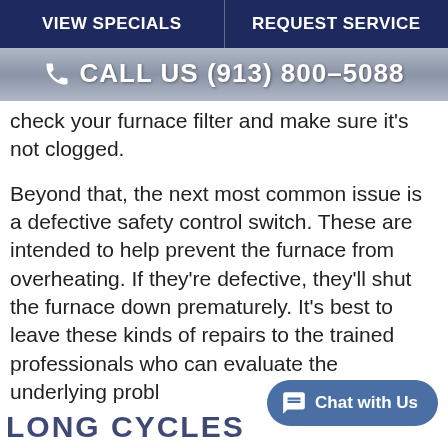VIEW SPECIALS | REQUEST SERVICE
CALL US (913) 800-5088
check your furnace filter and make sure it's not clogged.
Beyond that, the next most common issue is a defective safety control switch. These are intended to help prevent the furnace from overheating. If they're defective, they'll shut the furnace down prematurely. It's best to leave these kinds of repairs to the trained professionals who can evaluate the underlying problem
Chat with Us